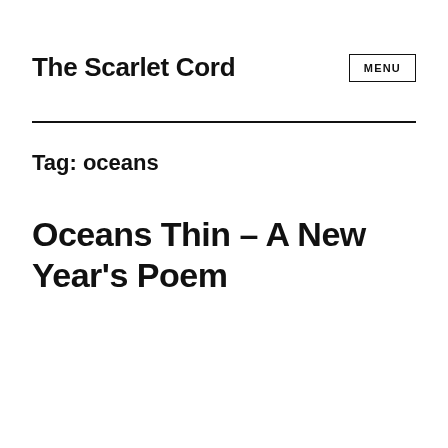The Scarlet Cord
Tag: oceans
Oceans Thin – A New Year's Poem